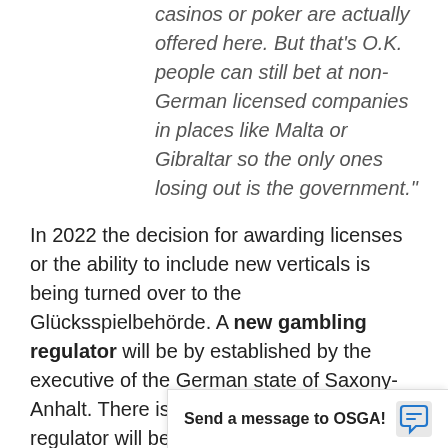casinos or poker are actually offered here. But that's O.K. people can still bet at non-German licensed companies in places like Malta or Gibraltar so the only ones losing out is the government."
In 2022 the decision for awarding licenses or the ability to include new verticals is being turned over to the Glücksspielbehörde. A new gambling regulator will be by established by the executive of the German state of Saxony-Anhalt. There is hope that this new regulator will be more liberal, less protectionist and more transparent than the Glücksspielkollegium.
A press release chairperson of